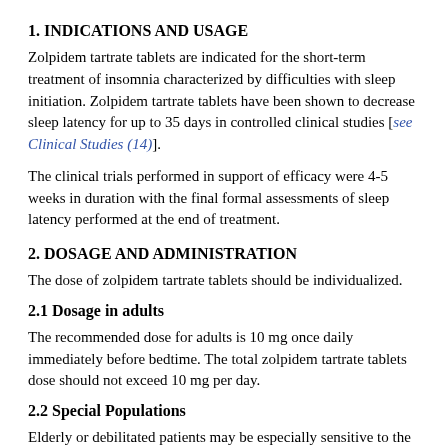1. INDICATIONS AND USAGE
Zolpidem tartrate tablets are indicated for the short-term treatment of insomnia characterized by difficulties with sleep initiation. Zolpidem tartrate tablets have been shown to decrease sleep latency for up to 35 days in controlled clinical studies [see Clinical Studies (14)].
The clinical trials performed in support of efficacy were 4-5 weeks in duration with the final formal assessments of sleep latency performed at the end of treatment.
2. DOSAGE AND ADMINISTRATION
The dose of zolpidem tartrate tablets should be individualized.
2.1 Dosage in adults
The recommended dose for adults is 10 mg once daily immediately before bedtime. The total zolpidem tartrate tablets dose should not exceed 10 mg per day.
2.2 Special Populations
Elderly or debilitated patients may be especially sensitive to the effects of zolpidem tartrate. Patients with hepatic insufficiency...